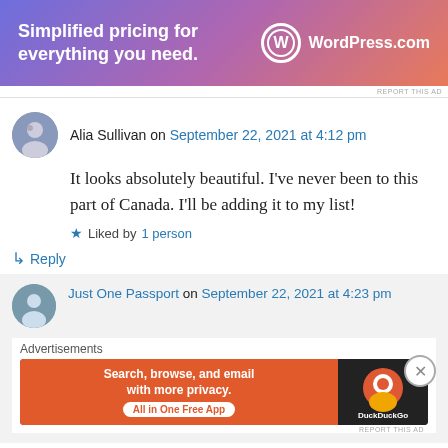[Figure (other): WordPress.com advertisement banner: 'Simplified pricing for everything you need.' with WordPress logo]
REPORT THIS AD
Alia Sullivan on September 22, 2021 at 4:12 pm
It looks absolutely beautiful. I've never been to this part of Canada. I'll be adding it to my list!
★ Liked by 1 person
↳ Reply
Just One Passport on September 22, 2021 at 4:23 pm
Advertisements
[Figure (other): DuckDuckGo advertisement: 'Search, browse, and email with more privacy. All in One Free App' with DuckDuckGo logo]